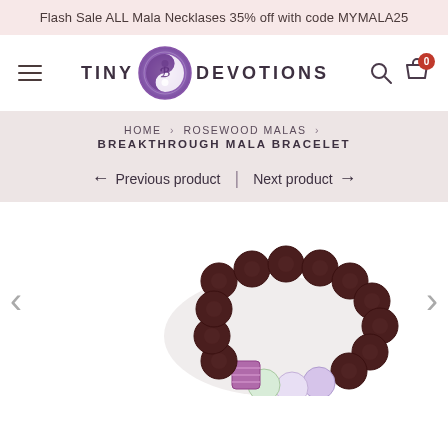Flash Sale ALL Mala Necklases 35% off with code MYMALA25
[Figure (logo): Tiny Devotions logo with purple yin-yang emblem between the words TINY and DEVOTIONS]
HOME › ROSEWOOD MALAS › BREAKTHROUGH MALA BRACELET
← Previous product | Next product →
[Figure (photo): Mala bracelet with dark rosewood beads, light purple/amethyst beads, and a purple macrame knot section, shown on white background with navigation arrows on left and right sides]